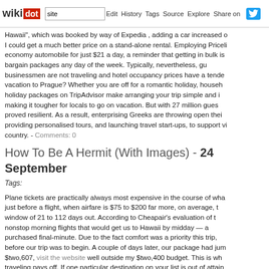wikidot | site | Edit | History | Tags | Source | Explore | Share on [twitter]
Hawaii", which was booked by way of Expedia , adding a car increased o... I could get a much better price on a stand-alone rental. Employing Priceli... economy automobile for just $21 a day, a reminder that getting in bulk is... bargain packages any day of the week. Typically, nevertheless, gu... businessmen are not traveling and hotel occupancy prices have a tende... vacation to Prague? Whether you are off for a romantic holiday, househ... holiday packages on TripAdvisor make arranging your trip simple and i... making it tougher for locals to go on vacation. But with 27 million gues... proved resilient. As a result, enterprising Greeks are throwing open thei... providing personalised tours, and launching travel start-ups, to support v... country. - Comments: 0
How To Be A Hermit (With Images) - 24 September
Tags:
Plane tickets are practically always most expensive in the course of wha... just before a flight, when airfare is $75 to $200 far more, on average, ... window of 21 to 112 days out. According to Cheapair's evaluation of t... nonstop morning flights that would get us to Hawaii by midday — a... purchased final-minute. Due to the fact comfort was a priority this trip,... before our trip was to begin. A couple of days later, our package had jum... $two,607, visit the website well outside my $two,400 budget. This is wh... traveling pays off. If one particular destination on your list is out of attain... another. With the peso at record lows, for example, this winter is an i... Mexico. Virgin Holidays is assuring clients that they will offer option acco... will be entitled to a full refund. A lot of beaches and coastal authorities res... gather in one particular day. Investigation nearby beach-combing rules a...